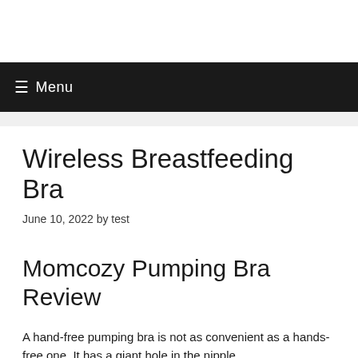Menu
Wireless Breastfeeding Bra
June 10, 2022 by test
Momcozy Pumping Bra Review
A hand-free pumping bra is not as convenient as a hands-free one. It has a giant hole in the nipple